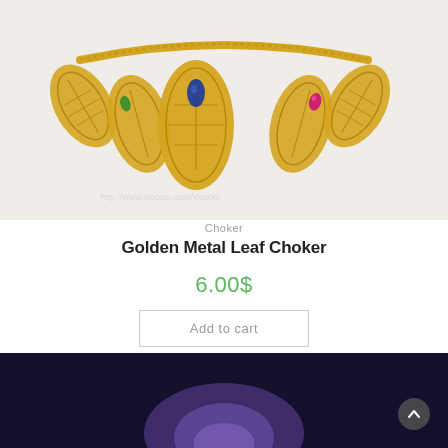[Figure (photo): Golden metal leaf choker necklace with colorful gemstones (green, blue, pink) on a light background, partially cropped at top]
Choker
Golden Metal Leaf Choker
6.00$
Add to cart
[Figure (photo): Bottom portion of another product image with dark background showing a partial purple/violet jewelry item]